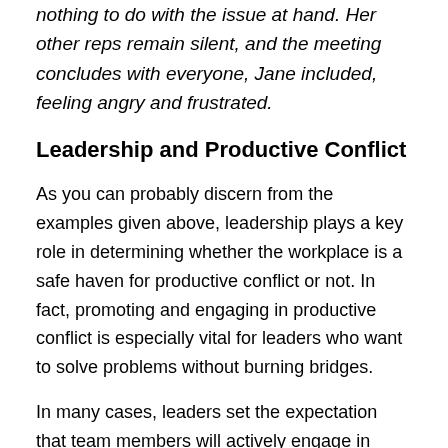nothing to do with the issue at hand. Her other reps remain silent, and the meeting concludes with everyone, Jane included, feeling angry and frustrated.
Leadership and Productive Conflict
As you can probably discern from the examples given above, leadership plays a key role in determining whether the workplace is a safe haven for productive conflict or not. In fact, promoting and engaging in productive conflict is especially vital for leaders who want to solve problems without burning bridges.
In many cases, leaders set the expectation that team members will actively engage in productive conflict with one another (within proper boundaries, of course). In doing so, they set the tone and the expectations around